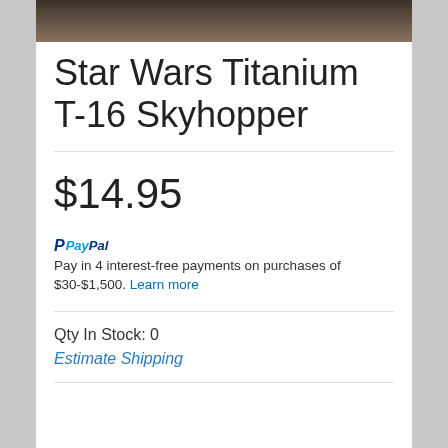[Figure (photo): Partial product image of Star Wars Titanium T-16 Skyhopper, dark brownish background, cropped at top]
Star Wars Titanium T-16 Skyhopper
$14.95
PayPal Pay in 4 interest-free payments on purchases of $30-$1,500. Learn more
Qty In Stock: 0
Estimate Shipping